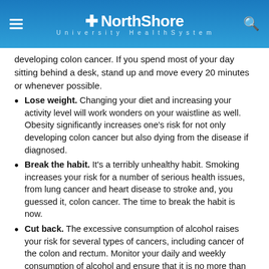NorthShore University HealthSystem
developing colon cancer. If you spend most of your day sitting behind a desk, stand up and move every 20 minutes or whenever possible.
Lose weight. Changing your diet and increasing your activity level will work wonders on your waistline as well. Obesity significantly increases one’s risk for not only developing colon cancer but also dying from the disease if diagnosed.
Break the habit. It’s a terribly unhealthy habit. Smoking increases your risk for a number of serious health issues, from lung cancer and heart disease to stroke and, you guessed it, colon cancer. The time to break the habit is now.
Cut back. The excessive consumption of alcohol raises your risk for several types of cancers, including cancer of the colon and rectum. Monitor your daily and weekly consumption of alcohol and ensure that it is no more than 14 units of alcohol per week and no more than three in any single day.
Get a colonoscopy. While adopting these lifestyle changes